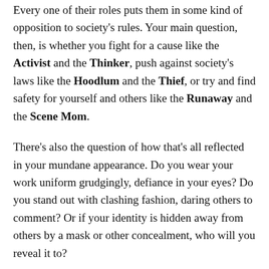Every one of their roles puts them in some kind of opposition to society's rules. Your main question, then, is whether you fight for a cause like the Activist and the Thinker, push against society's laws like the Hoodlum and the Thief, or try and find safety for yourself and others like the Runaway and the Scene Mom.
There's also the question of how that's all reflected in your mundane appearance. Do you wear your work uniform grudgingly, defiance in your eyes? Do you stand out with clashing fashion, daring others to comment? Or if your identity is hidden away from others by a mask or other concealment, who will you reveal it to?
Wrapping Up
The Heretic is a fire you can't stamp out, the whisper of a better world in the back of your mind, a lighthouse